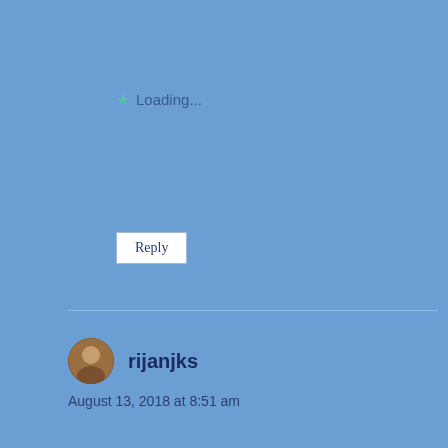Loading...
Reply
rijanjks
August 13, 2018 at 8:51 am
Most interesting, Denise. And, for all the touting we do for Indie Authors, not one made this list. Hmmmm. Thank you for sharing.
Loading...
Reply